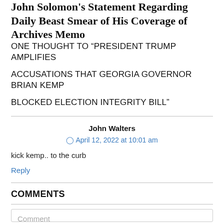John Solomon's Statement Regarding Daily Beast Smear of His Coverage of Archives Memo
ONE THOUGHT TO “PRESIDENT TRUMP AMPLIFIES ACCUSATIONS THAT GEORGIA GOVERNOR BRIAN KEMP BLOCKED ELECTION INTEGRITY BILL”
John Walters
⌛ April 12, 2022 at 10:01 am
kick kemp.. to the curb
Reply
COMMENTS
Comment